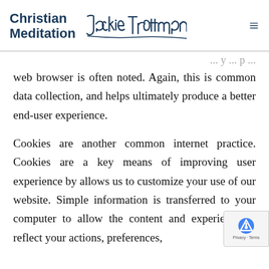Christian Meditation — Jackie Trottmann
web browser is often noted. Again, this is common data collection, and helps ultimately produce a better end-user experience.
Cookies are another common internet practice. Cookies are a key means of improving user experience by allows us to customize your use of our website. Simple information is transferred to your computer to allow the content and experience to reflect your actions, preferences,